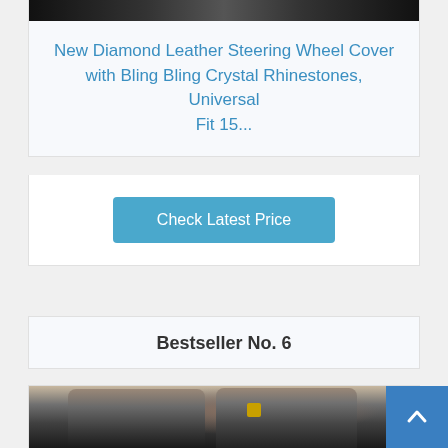[Figure (photo): Top portion of a product image (dark background with sparkle/bling effect), partially visible at top of page]
New Diamond Leather Steering Wheel Cover with Bling Bling Crystal Rhinestones, Universal Fit 15...
Check Latest Price
Bestseller No. 6
[Figure (photo): Gray and black car seat covers installed in a vehicle interior, showing two front seats with a logo/badge on the headrest]